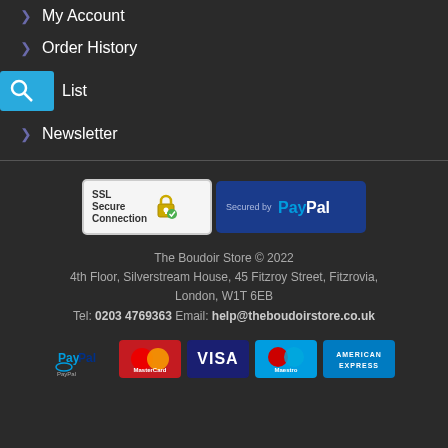> My Account
> Order History
> Wish List
> Newsletter
[Figure (logo): SSL Secure Connection badge and Secured by PayPal badge]
The Boudoir Store © 2022
4th Floor, Silverstream House, 45 Fitzroy Street, Fitzrovia, London, W1T 6EB
Tel: 0203 4769363 Email: help@theboudoirstore.co.uk
[Figure (logo): Payment icons: PayPal, MasterCard, Visa, Maestro, American Express]